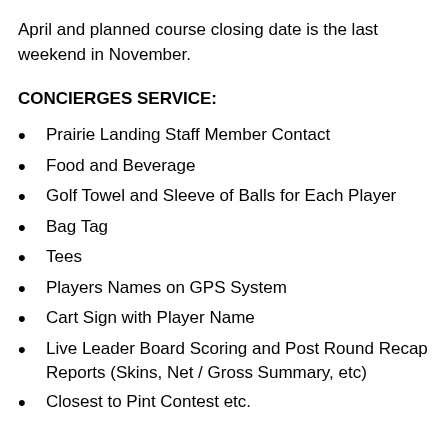April and planned course closing date is the last weekend in November.
CONCIERGES SERVICE:
Prairie Landing Staff Member Contact
Food and Beverage
Golf Towel and Sleeve of Balls for Each Player
Bag Tag
Tees
Players Names on GPS System
Cart Sign with Player Name
Live Leader Board Scoring and Post Round Recap Reports (Skins, Net / Gross Summary, etc)
Closest to Pint Contest etc.